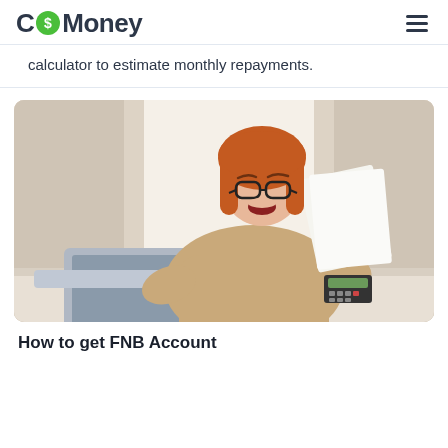CoMoney
calculator to estimate monthly repayments.
[Figure (photo): A smiling red-haired woman wearing glasses sitting at a desk with a laptop, holding papers and looking at them excitedly, with a window and curtains in the background.]
How to get FNB Account